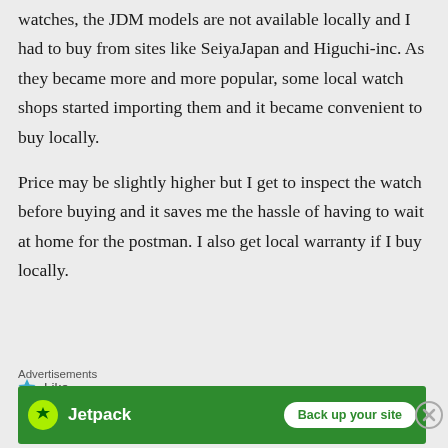watches, the JDM models are not available locally and I had to buy from sites like SeiyaJapan and Higuchi-inc. As they became more and more popular, some local watch shops started importing them and it became convenient to buy locally.
Price may be slightly higher but I get to inspect the watch before buying and it saves me the hassle of having to wait at home for the postman. I also get local warranty if I buy locally.
★ Like
Advertisements
[Figure (other): Jetpack advertisement banner with green background, Jetpack logo on the left and 'Back up your site' button on the right]